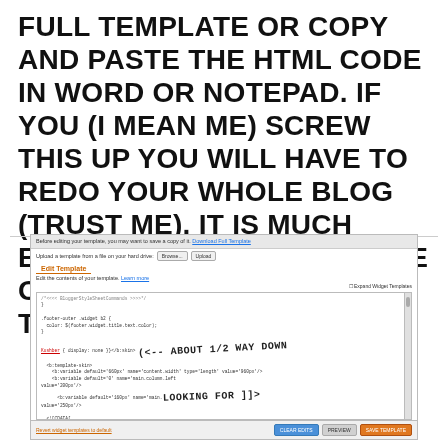FULL TEMPLATE OR COPY AND PASTE THE HTML CODE IN WORD OR NOTEPAD.  IF YOU (I MEAN ME) SCREW THIS UP YOU WILL HAVE TO REDO YOUR WHOLE BLOG (TRUST ME).  IT IS MUCH EASIER TO COPY AND PASTE OPPOSED TO REBUILDING THE WHOLE THING!!!!
[Figure (screenshot): Screenshot of a blog template editor (Blogger Edit Template page) showing HTML/CSS code with handwritten annotations: 'ABOUT 1/2 WAY DOWN' with arrow pointing left, and 'LOOKING FOR ]]>' pointing to code location. Bottom bar has 'Revert widget templates to default', 'CLEAR EDITS', 'PREVIEW', and 'SAVE TEMPLATE' buttons.]